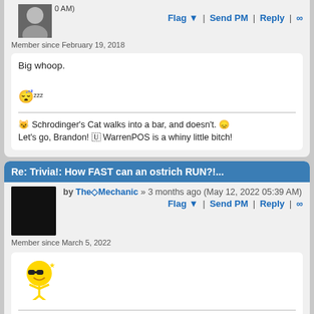0 AM)
Flag ▼ | Send PM | Reply | ∞
Member since February 19, 2018
Big whoop.
😴zzz
🐱 Schrodinger's Cat walks into a bar, and doesn't. 😞 Let's go, Brandon! 🇺 WarrenPOS is a whiny little bitch!
Re: Trivia!: How FAST can an ostrich RUN?!...
by The◇Mechanic » 3 months ago (May 12, 2022 05:39 AM)
Flag ▼ | Send PM | Reply | ∞
Member since March 5, 2022
[Figure (illustration): Cool emoji character with sunglasses dancing]
Don't worry,I've got this. 🙏🙏 God bless you dad, I miss you so much.
Re: Trivia!: How FAST can an ostrich RUN?!...
by 🍕 🍕 » 3 months ago (May 12, 2022 06:02 AM)
Flag ▼ | Send PM | Reply | ∞
Member since May 27, 2019